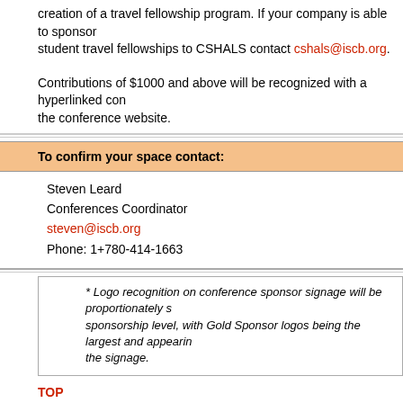creation of a travel fellowship program. If your company is able to sponsor student travel fellowships to CSHALS contact cshals@iscb.org.
Contributions of $1000 and above will be recognized with a hyperlinked company logo on the conference website.
To confirm your space contact:
Steven Leard
Conferences Coordinator
steven@iscb.org
Phone: 1+780-414-1663
* Logo recognition on conference sponsor signage will be proportionately sized according to sponsorship level, with Gold Sponsor logos being the largest and appearing prominently on the signage.
TOP
Copyright © 2012 International Society for Computational Biology